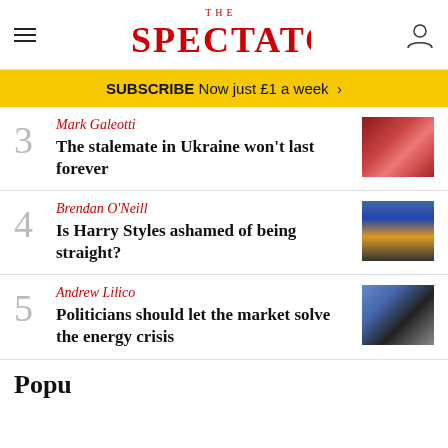THE SPECTATOR
SUBSCRIBE Now just £1 a week >
3 Mark Galeotti – The stalemate in Ukraine won't last forever
4 Brendan O'Neill – Is Harry Styles ashamed of being straight?
5 Andrew Lilico – Politicians should let the market solve the energy crisis